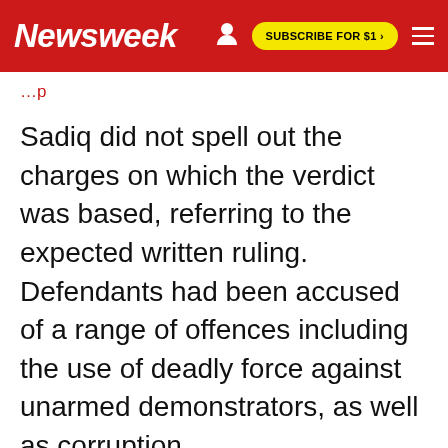Newsweek  SUBSCRIBE FOR $1 >
Sadiq did not spell out the charges on which the verdict was based, referring to the expected written ruling. Defendants had been accused of a range of offences including the use of deadly force against unarmed demonstrators, as well as corruption.